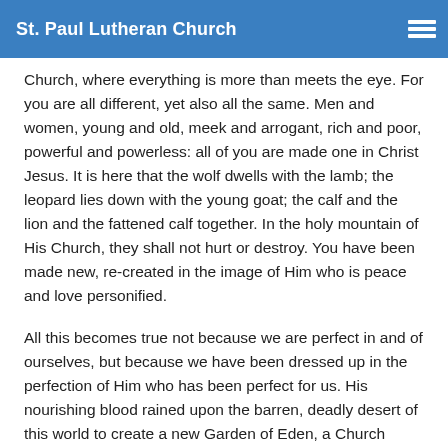St. Paul Lutheran Church
Church, where everything is more than meets the eye. For you are all different, yet also all the same. Men and women, young and old, meek and arrogant, rich and poor, powerful and powerless: all of you are made one in Christ Jesus. It is here that the wolf dwells with the lamb; the leopard lies down with the young goat; the calf and the lion and the fattened calf together. In the holy mountain of His Church, they shall not hurt or destroy. You have been made new, re-created in the image of Him who is peace and love personified.
All this becomes true not because we are perfect in and of ourselves, but because we have been dressed up in the perfection of Him who has been perfect for us. His nourishing blood rained upon the barren, deadly desert of this world to create a new Garden of Eden, a Church where